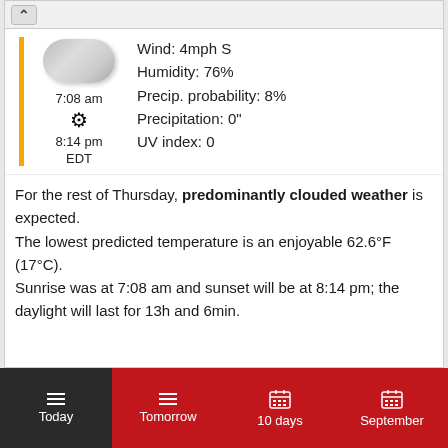[Figure (screenshot): Cloud weather icon (blurred/greyed out cloud image)]
Wind: 4mph S
Humidity: 76%
Precip. probability: 8%
Precipitation: 0"
UV index: 0
7:08 am
☀
8:14 pm
EDT
For the rest of Thursday, predominantly clouded weather is expected.
The lowest predicted temperature is an enjoyable 62.6°F (17°C).
Sunrise was at 7:08 am and sunset will be at 8:14 pm; the daylight will last for 13h and 6min.
Today | Tomorrow | 10 days | September